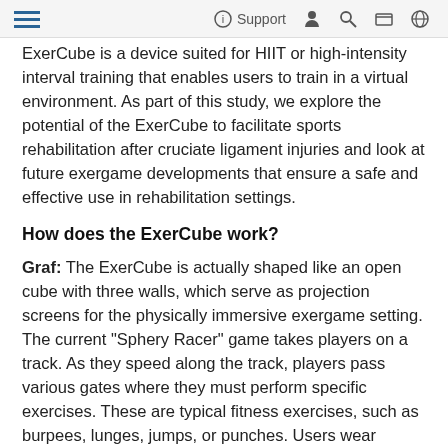≡  ⓘ Support  👤  🔍  🛒  🌐
ExerCube is a device suited for HIIT or high-intensity interval training that enables users to train in a virtual environment. As part of this study, we explore the potential of the ExerCube to facilitate sports rehabilitation after cruciate ligament injuries and look at future exergame developments that ensure a safe and effective use in rehabilitation settings.
How does the ExerCube work?
Graf: The ExerCube is actually shaped like an open cube with three walls, which serve as projection screens for the physically immersive exergame setting. The current "Sphery Racer" game takes players on a track. As they speed along the track, players pass various gates where they must perform specific exercises. These are typical fitness exercises, such as burpees, lunges, jumps, or punches. Users wear motion tracking systems on their hands and feet, which track the player's body position and determine whether the movement